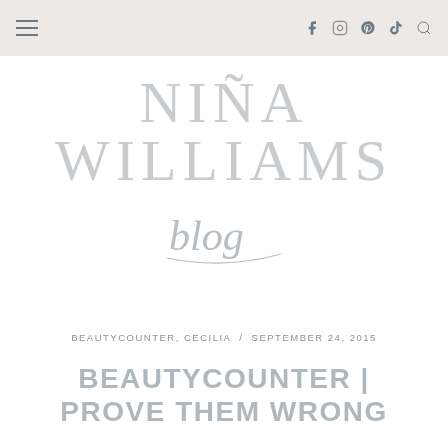Navigation header with hamburger menu and social icons (Facebook, Instagram, Pinterest, TikTok, Search)
[Figure (logo): Niña Williams blog logo — large serif text 'NIÑA WILLIAMS' in light grey with cursive 'blog' script below]
BEAUTYCOUNTER, CECILIA / SEPTEMBER 24, 2015
BEAUTYCOUNTER | PROVE THEM WRONG